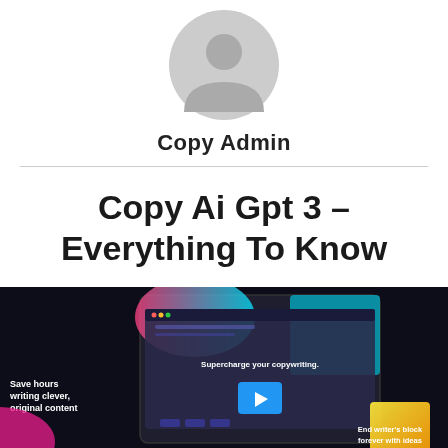[Figure (illustration): Circular grey avatar/profile placeholder icon showing a generic silhouette of a person (head and shoulders)]
Copy Admin
[Figure (screenshot): Screenshot of a dark-themed marketing page for a copywriting AI tool. Shows a laptop/monitor with a colorful UI (pink, blue, teal gradients). Text visible: 'Save hours writing clever, original content', 'Supercharge your copywriting.', 'End writer's block forever with ideas'. A blue play button is visible in the center.]
Copy Ai Gpt 3 – Everything To Know